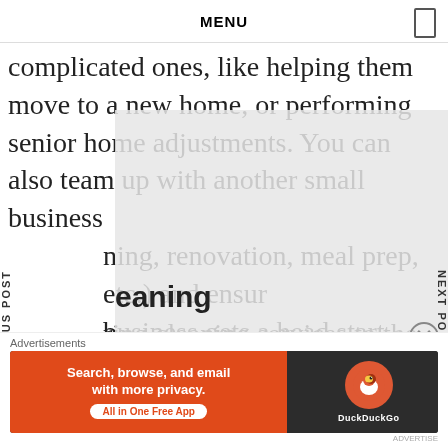MENU
complicated ones, like helping them move to a new home, or performing senior home adjustments. You can also team up with another small business ning, renovation, meal prep, etc.) and ensure business gets a head start.
eaning
ring cleaning services to the previously tioned seniors, homeowners in need, apartment complexes, or even commercial properties, is another great small business idea. The need for
[Figure (screenshot): DuckDuckGo advertisement banner with orange background, text 'Search, browse, and email with more privacy. All in One Free App' and DuckDuckGo logo on dark background.]